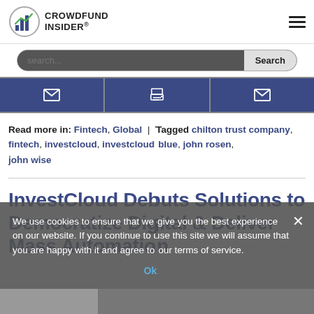CROWDFUND INSIDER
Read more in: Fintech, Global | Tagged chilton trust company, fintech, investcloud, investcloud blue, john rosen, john wise
InvestCloud Debuts Solutions to Democratize Digital & Deliver Mass Automation
We use cookies to ensure that we give you the best experience on our website. If you continue to use this site we will assume that you are happy with it and agree to our terms of service.